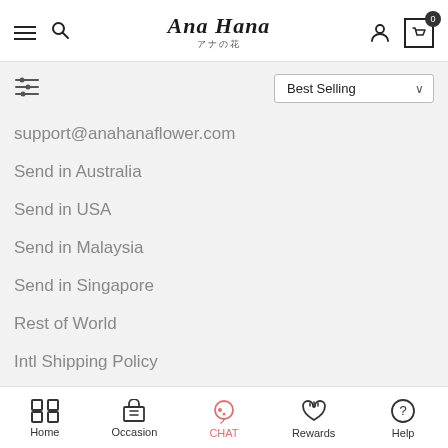Ana Hana アナの花 — navigation bar with hamburger, search, logo, user, cart
Best Selling
support@anahanaflower.com
Send in Australia
Send in USA
Send in Malaysia
Send in Singapore
Rest of World
Intl Shipping Policy
GET FREE FLOWERS
Home | Occasion | CHAT | Rewards | Help